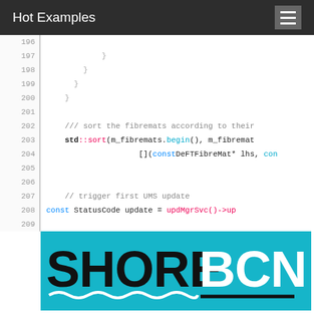Hot Examples
[Figure (screenshot): Code viewer showing C++ source lines 196-209 with syntax highlighting. Lines 197-200 show closing braces, line 202 is a comment '/// sort the fibremats according to their', line 203 'std::sort(m_fibremats.begin(), m_fibremat', line 204 '[](const DeFTFibreMat* lhs, con', lines 205-206 blank, line 207 '// trigger first UMS update', line 208 'const StatusCode update = updMgrSvc()->up', line 209 blank.]
[Figure (logo): SHORE BCN logo on cyan background with wave underline]